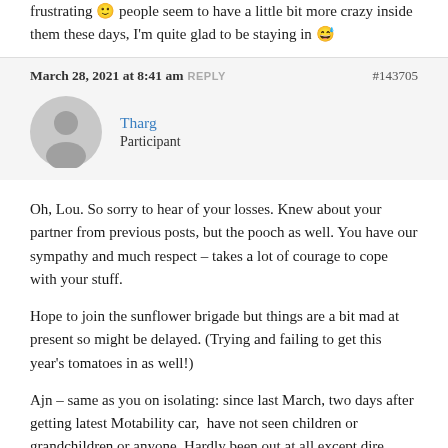frustrating 🙂 people seem to have a little bit more crazy inside them these days, I'm quite glad to be staying in 😅
March 28, 2021 at 8:41 am REPLY #143705
Tharg
Participant
Oh, Lou. So sorry to hear of your losses. Knew about your partner from previous posts, but the pooch as well. You have our sympathy and much respect – takes a lot of courage to cope with your stuff.
Hope to join the sunflower brigade but things are a bit mad at present so might be delayed. (Trying and failing to get this year's tomatoes in as well!)
Ajn – same as you on isolating: since last March, two days after getting latest Motability car,  have not seen children or grandchildren or anyone. Hardly been out at all except dire distressing hospital episode for Mrs T (two v. nasty operations). Only person-to-person